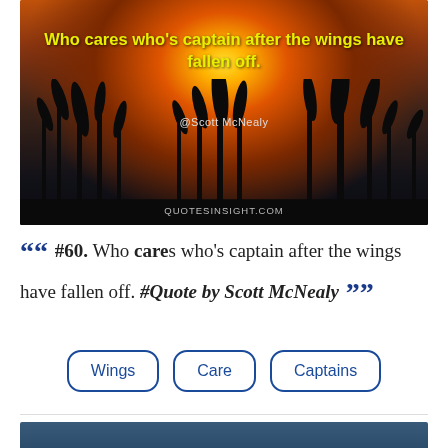[Figure (photo): Sunset scene with silhouettes of tall grass/reeds against an orange and dark sky, with quote text overlay in yellow reading 'Who cares who's captain after the wings have fallen off.' Attribution '@Scott McNealy' and website 'QUOTESINSIGHT.COM']
““ #60. Who cares who's captain after the wings have fallen off. #Quote by Scott McNealy ””
Wings
Care
Captains